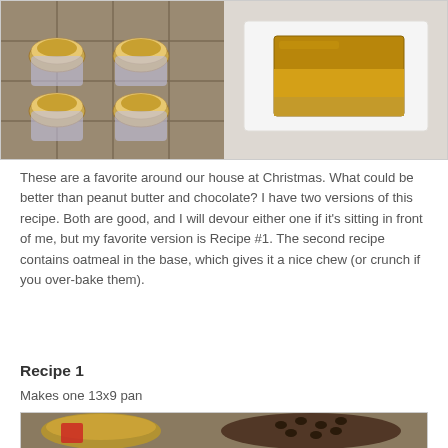[Figure (photo): Two food photos side by side at top: left shows peanut butter cups on a metal rack, right shows a square peanut butter chocolate bar on a white surface.]
These are a favorite around our house at Christmas. What could be better than peanut butter and chocolate? I have two versions of this recipe. Both are good, and I will devour either one if it's sitting in front of me, but my favorite version is Recipe #1. The second recipe contains oatmeal in the base, which gives it a nice chew (or crunch if you over-bake them).
Recipe 1
Makes one 13x9 pan
[Figure (photo): Photo of ingredients: peanut butter in a bowl, measuring cups, and a bowl of chocolate chips on a metal tray.]